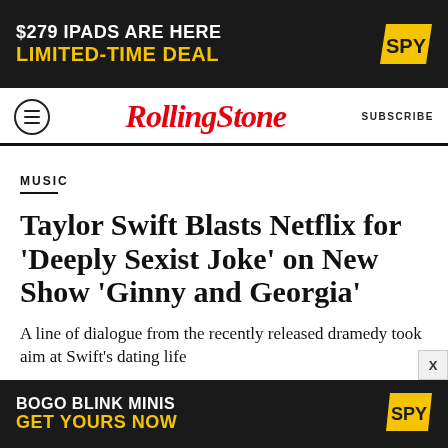[Figure (other): SPY advertisement banner: '$279 IPADS ARE HERE' in white text, 'LIMITED-TIME DEAL' in yellow text, SPY logo in yellow on dark background]
Rolling Stone | SUBSCRIBE
MUSIC
Taylor Swift Blasts Netflix for ‘Deeply Sexist Joke’ on New Show ‘Ginny and Georgia’
A line of dialogue from the recently released dramedy took aim at Swift’s dating life
BY BRITTANY SPANOS
[Figure (other): SPY advertisement banner: 'BOGO BLINK MINIS' in white text, 'GET YOURS NOW' in yellow text, SPY logo in yellow on dark background]